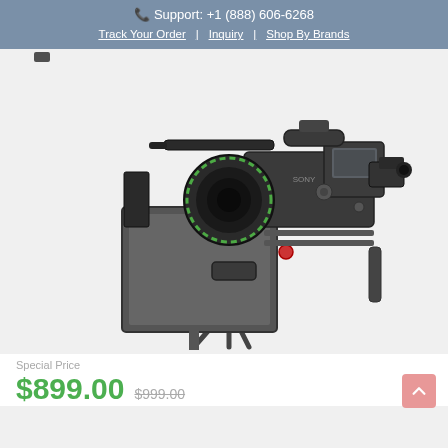📞 Support: +1 (888) 606-6268
Track Your Order | Inquiry | Shop By Brands
[Figure (photo): Professional video camera (Sony) mounted on a tripod with a large teleprompter/monitor attached in front and a lens with green LED ring, viewed from the front-left side.]
Special Price
$899.00  $999.00